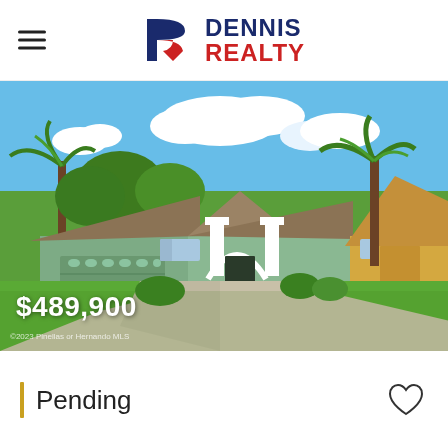Dennis Realty
[Figure (photo): Exterior photo of a single-story Florida home with green stucco, two-car garage, palm trees, and manicured lawn. Price overlay: $489,900. Copyright: ©2023 Pinellas or Hernando MLS]
| Pending